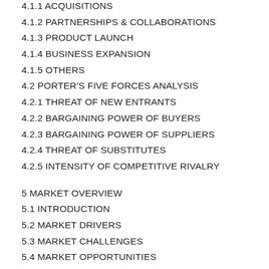4.1.1 ACQUISITIONS
4.1.2 PARTNERSHIPS & COLLABORATIONS
4.1.3 PRODUCT LAUNCH
4.1.4 BUSINESS EXPANSION
4.1.5 OTHERS
4.2 PORTER'S FIVE FORCES ANALYSIS
4.2.1 THREAT OF NEW ENTRANTS
4.2.2 BARGAINING POWER OF BUYERS
4.2.3 BARGAINING POWER OF SUPPLIERS
4.2.4 THREAT OF SUBSTITUTES
4.2.5 INTENSITY OF COMPETITIVE RIVALRY
5 MARKET OVERVIEW
5.1 INTRODUCTION
5.2 MARKET DRIVERS
5.3 MARKET CHALLENGES
5.4 MARKET OPPORTUNITIES